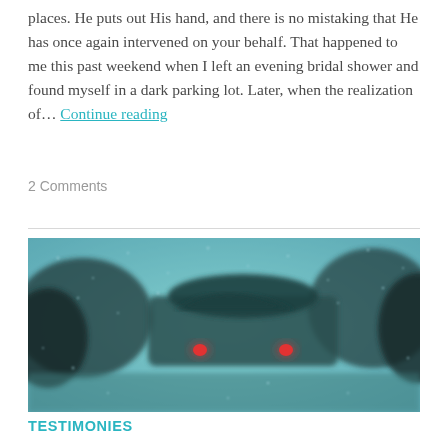places. He puts out His hand, and there is no mistaking that He has once again intervened on your behalf. That happened to me this past weekend when I left an evening bridal shower and found myself in a dark parking lot. Later, when the realization of… Continue reading
2 Comments
[Figure (photo): A blurry photo taken through a rain-covered windshield showing the back of a vehicle with red brake lights glowing, set against a teal/blue-grey rainy atmosphere.]
TESTIMONIES